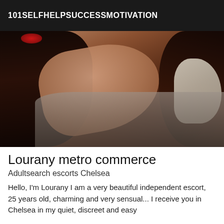101SELFHELPSUCCESSMOTIVATION
[Figure (photo): A woman with dark hair lying down, wearing a light-colored bra/top, with red lipstick visible, on a patterned bed surface.]
Lourany metro commerce
Adultsearch escorts Chelsea
Hello, I'm Lourany I am a very beautiful independent escort, 25 years old, charming and very sensual... I receive you in Chelsea in my quiet, discreet and easy